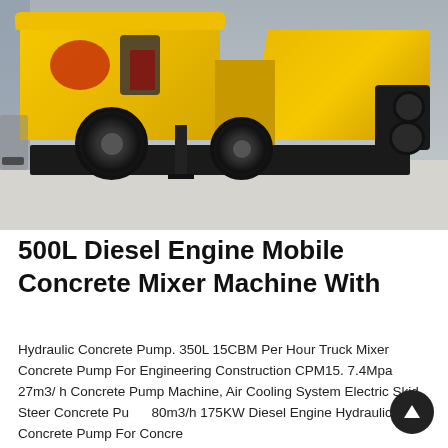[Figure (photo): Yellow diesel engine mobile concrete mixer machine with hydraulic pump on a wheeled trailer, photographed in an industrial/warehouse setting with concrete floor. The machine has a yellow canopied engine compartment on the left side, a large yellow hopper on the right, black chassis, two large rubber tires, a support leg, and pump outlet pipes at the rear.]
500L Diesel Engine Mobile Concrete Mixer Machine With
Hydraulic Concrete Pump. 350L 15CBM Per Hour Truck Mixer Concrete Pump For Engineering Construction CPM15. 7.4Mpa 27m3/ h Concrete Pump Machine, Air Cooling System Electric Skid Steer Concrete Pump 80m3/h 175KW Diesel Engine Hydraulic Concrete Pump For Concrete Pumping Machine.